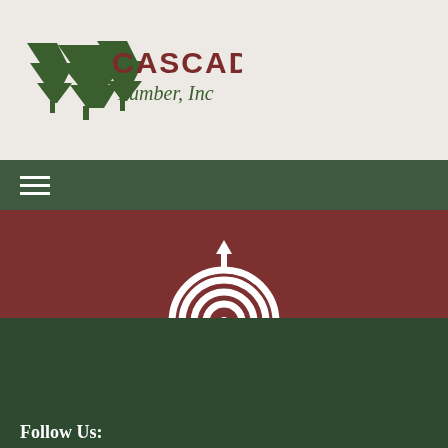[Figure (logo): Cascade Lumber Inc logo with pine trees in dark green and dark red text, in header area]
[Figure (other): Hamburger menu icon (three horizontal white lines) on dark green navigation bar]
[Figure (other): White icon resembling a tree-ring / wood cross-section concentric arcs on dark red/crimson background]
Consistency
[Figure (logo): Cascade Lumber Inc logo in white on dark green footer background with pine trees illustration]
Follow Us: